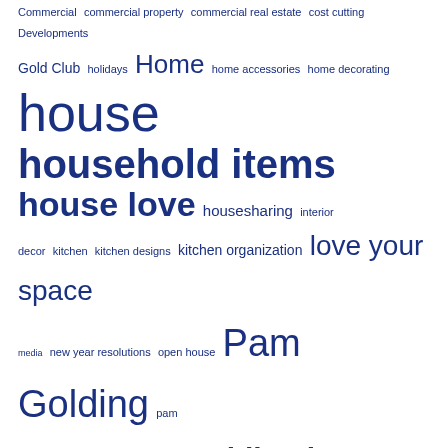Commercial commercial property commercial real estate cost cutting Developments Gold Club holidays Home home accessories home decorating house household items house love housesharing interior decor kitchen kitchen designs kitchen organization love your space media new year resolutions open house Pam Golding pam golding commercial pam golding kenya pam golding kenya agents Pam Golding Properties pam golding properties kenya PGP Pgp Karen PGP Kenya Property property blog property insights property tips real estate agents remodelling rent saving Services small rooms design
Recent Posts
New Year Resolutions for your Home